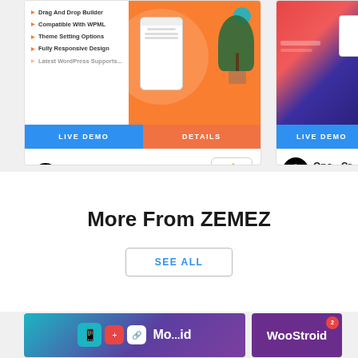[Figure (screenshot): Left product card showing Mobile App Showcase theme with orange background, plant, phone mockup, feature list, LIVE DEMO and DETAILS buttons]
[Figure (screenshot): Right product card showing Opo - Creative theme with blue/red gradient and phone mockup, LIVE DEMO button]
Mobile App Showcase...
by PixelNX
Opo - Cr...
by themex...
More From ZEMEZ
SEE ALL
[Figure (screenshot): Bottom left card with teal/purple gradient showing Mo...id text and icons]
[Figure (screenshot): Bottom right card with purple background showing WooStroid with red badge]